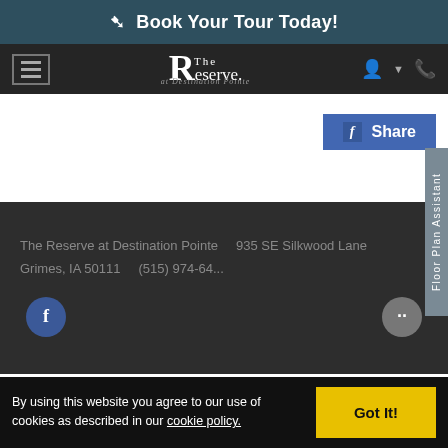Book Your Tour Today!
[Figure (screenshot): Navigation bar with hamburger menu, The Reserve at Destination Pointe logo, user and phone icons]
[Figure (screenshot): Facebook Share button (blue)]
[Figure (screenshot): Floor Plan Assistant side tab]
The Reserve at Destination Pointe    935 SE Silkwood Lane    Grimes, IA 50111    (515) 974-64...
By using this website you agree to our use of cookies as described in our cookie policy.